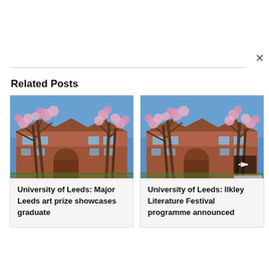Related Posts
[Figure (photo): University of Leeds building with cherry blossom trees in spring, brick Gothic-style architecture against blue sky]
University of Leeds: Major Leeds art prize showcases graduate
[Figure (photo): University of Leeds building with cherry blossom trees in spring, same brick Gothic-style architecture, with right-arrow navigation overlay]
University of Leeds: Ilkley Literature Festival programme announced